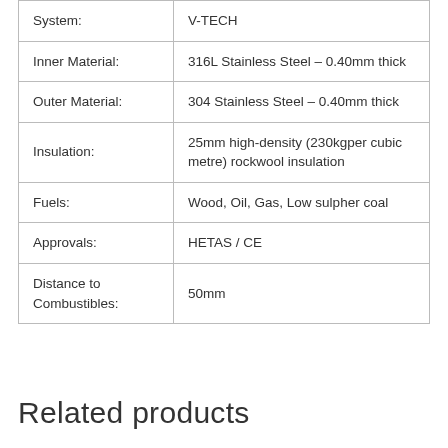| System: | V-TECH |
| Inner Material: | 316L Stainless Steel – 0.40mm thick |
| Outer Material: | 304 Stainless Steel – 0.40mm thick |
| Insulation: | 25mm high-density (230kg per cubic metre) rockwool insulation |
| Fuels: | Wood, Oil, Gas, Low sulpher coal |
| Approvals: | HETAS / CE |
| Distance to Combustibles: | 50mm |
Related products